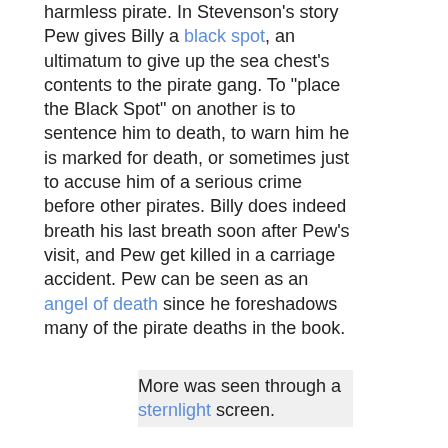harmless pirate. In Stevenson's story Pew gives Billy a black spot, an ultimatum to give up the sea chest's contents to the pirate gang. To "place the Black Spot" on another is to sentence him to death, to warn him he is marked for death, or sometimes just to accuse him of a serious crime before other pirates. Billy does indeed breath his last breath soon after Pew's visit, and Pew get killed in a carriage accident. Pew can be seen as an angel of death since he foreshadows many of the pirate deaths in the book.
More was seen through a sternlight screen.